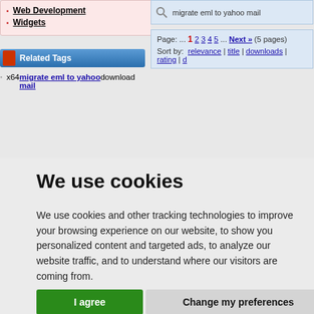Web Development
Widgets
Related Tags
x64 migrate eml to yahoo mail download
Page: ... 1 2 3 4 5 ... Next » (5 pages)
Sort by: relevance | title | downloads | rating | d
We use cookies
We use cookies and other tracking technologies to improve your browsing experience on our website, to show you personalized content and targeted ads, to analyze our website traffic, and to understand where our visitors are coming from.
I agree   Change my preferences